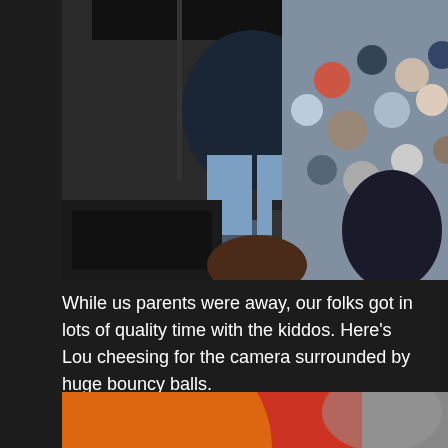[Figure (photo): Person sitting at what appears to be a piano or keyboard instrument at an outdoor event with a crowd of spectators visible in the background]
While us parents were away, our folks got in lots of quality time with the kiddos. Here’s Lou cheesing for the camera surrounded by huge bouncy balls.
[Figure (photo): Close-up of large red and orange bouncy balls]